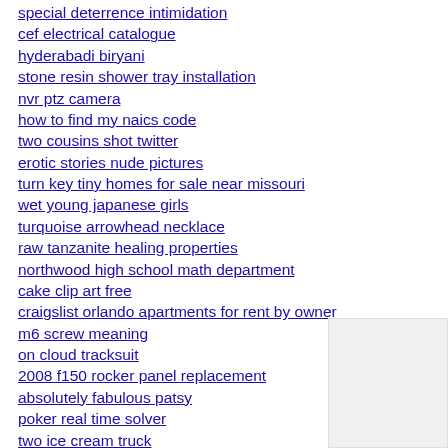special deterrence intimidation
cef electrical catalogue
hyderabadi biryani
stone resin shower tray installation
nvr ptz camera
how to find my naics code
two cousins shot twitter
erotic stories nude pictures
turn key tiny homes for sale near missouri
wet young japanese girls
turquoise arrowhead necklace
raw tanzanite healing properties
northwood high school math department
cake clip art free
craigslist orlando apartments for rent by owner
m6 screw meaning
on cloud tracksuit
2008 f150 rocker panel replacement
absolutely fabulous patsy
poker real time solver
two ice cream truck
vin check canada
cac office redstone arsenal
fibrocystic breast disease after menopause
health benefits of garlic and ginger